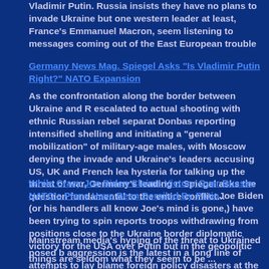Vladimir Putin. Russia insists they have no plans to invade Ukraine but one western leader at least, France's Emmanuel Macron, seem listening to messages coming out of the East European trouble
Germany News Mag. Spiegel Asks "Is Vladimir Putin Right?" NATO Expansion
As the confrontation along the border between Ukraine and R escalated to actual shooting with ethnic Russian rebel separat Donbas reporting intensified shelling and initiating a "general mobilization" of military-age males, with Moscow denying the invade and Ukraine's leaders accusing US, UK and French lea hysteria for talking up the threat of war, Germany's leading n Spiegel asks the question fundamental to the entire conflict...
While Crazy Joe Biden Claims Victory Over Russia, NATO's Plans Have Been Derailed By Putin Joe Biden (or his handlers all know Joe’s mind is gone,) have been trying to spin reports troops withdrawing from positions close to the Ukraine border diplomatic victory for the USA over Putin but in the geopolitic things are seldom what they seem to be ...
Mainstream media’s hyping of the threat to Ukrained posed b aggression is the latest in a long line of attempts to lay blame foreign policy disasters at the fet of Russia. In fact had Joe Bi started to babble about Russian aggression, talking up the t